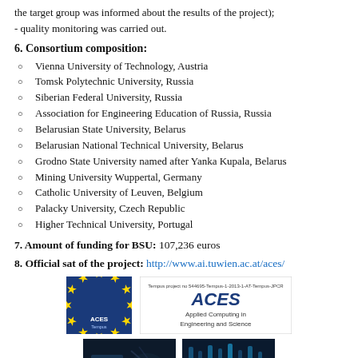the target group was informed about the results of the project); - quality monitoring was carried out.
6. Consortium composition:
Vienna University of Technology, Austria
Tomsk Polytechnic University, Russia
Siberian Federal University, Russia
Association for Engineering Education of Russia, Russia
Belarusian State University, Belarus
Belarusian National Technical University, Belarus
Grodno State University named after Yanka Kupala, Belarus
Mining University Wuppertal, Germany
Catholic University of Leuven, Belgium
Palacky University, Czech Republic
Higher Technical University, Portugal
7. Amount of funding for BSU: 107,236 euros
8. Official sat of the project: http://www.ai.tuwien.ac.at/aces/
[Figure (logo): EU/ACES Tempus project logo with star circle on blue background and ACES Applied Computing in Engineering and Science logo banner]
[Figure (photo): Two dark-toned photos side by side, possibly technology or engineering related imagery]